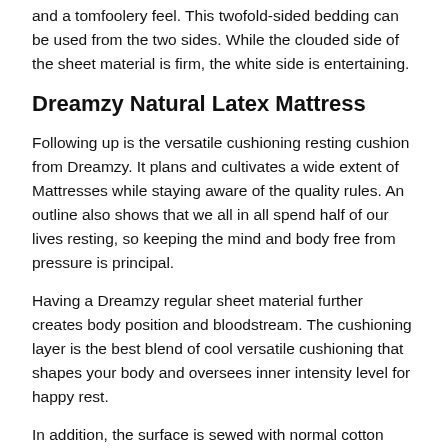and a tomfoolery feel. This twofold-sided bedding can be used from the two sides. While the clouded side of the sheet material is firm, the white side is entertaining.
Dreamzy Natural Latex Mattress
Following up is the versatile cushioning resting cushion from Dreamzy. It plans and cultivates a wide extent of Mattresses while staying aware of the quality rules. An outline also shows that we all in all spend half of our lives resting, so keeping the mind and body free from pressure is principal.
Having a Dreamzy regular sheet material further creates body position and bloodstream. The cushioning layer is the best blend of cool versatile cushioning that shapes your body and oversees inner intensity level for happy rest.
In addition, the surface is sewed with normal cotton lining material to offer smooth touch and breathability. This astounding sheet material is upheld with a drawn-out to ensure and is guaranteed by ISO (International Organization for Standardization) for using pure foam material during creation.